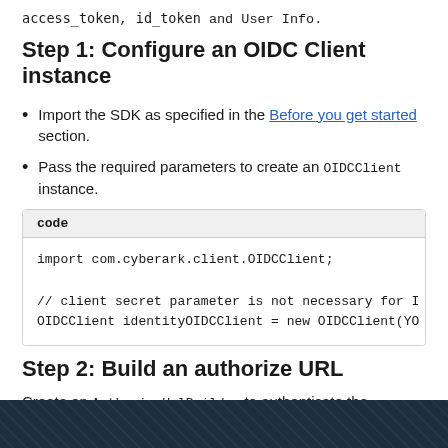access_token, id_token and User Info.
Step 1: Configure an OIDC Client instance
Import the SDK as specified in the Before you get started section.
Pass the required parameters to create an OIDCClient instance.
code
import com.cyberark.client.OIDCClient;

// client secret parameter is not necessary for I
OIDCClient identityOIDCClient = new OIDCClient(YO
Step 2: Build an authorize URL
Create an AuthorizeUrlBuilder to authenticate the